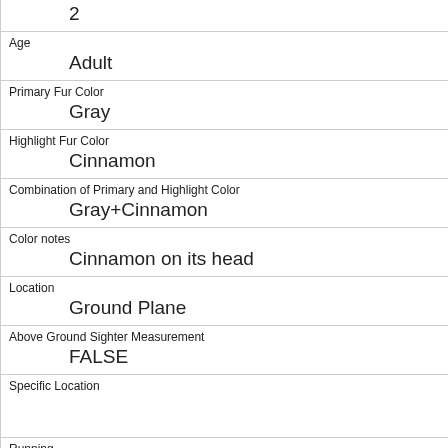| Age | Adult |
| Primary Fur Color | Gray |
| Highlight Fur Color | Cinnamon |
| Combination of Primary and Highlight Color | Gray+Cinnamon |
| Color notes | Cinnamon on its head |
| Location | Ground Plane |
| Above Ground Sighter Measurement | FALSE |
| Specific Location |  |
| Running | 1 |
| Chasing | 0 |